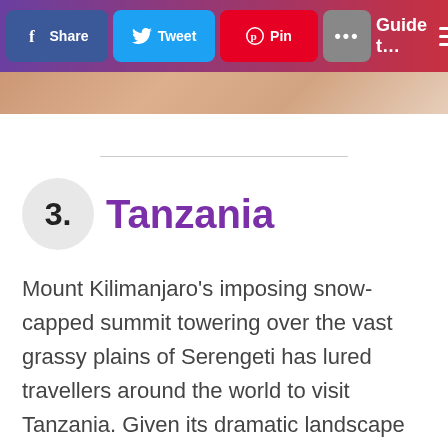Share | Tweet | Pin | ... | Guide t...
[Figure (photo): Partial photo strip of landscape, appearing below the toolbar]
3. Tanzania
Mount Kilimanjaro's imposing snow-capped summit towering over the vast grassy plains of Serengeti has lured travellers around the world to visit Tanzania. Given its dramatic landscape views, it doesn't come as a surprise why Tanzania has become the go-to destination for Instagram influencers.